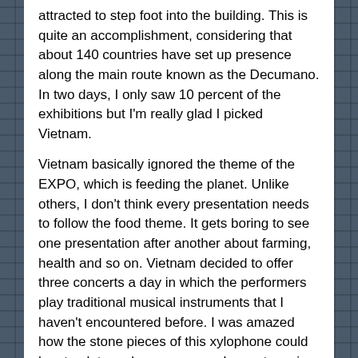attracted to step foot into the building. This is quite an accomplishment, considering that about 140 countries have set up presence along the main route known as the Decumano. In two days, I only saw 10 percent of the exhibitions but I'm really glad I picked Vietnam.
Vietnam basically ignored the theme of the EXPO, which is feeding the planet. Unlike others, I don't think every presentation needs to follow the food theme. It gets boring to see one presentation after another about farming, health and so on. Vietnam decided to offer three concerts a day in which the performers play traditional musical instruments that I haven't encountered before. I was amazed how the stone pieces of this xylophone could be struck to make some very pleasant music:
[Figure (photo): Photo of musicians in red traditional Vietnamese costumes performing at the Vietnam EXPO pavilion, playing traditional instruments including what appears to be a stone xylophone]